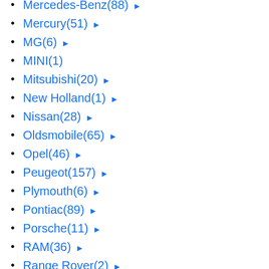Mercedes-Benz(88) ►
Mercury(51) ►
MG(6) ►
MINI(1)
Mitsubishi(20) ►
New Holland(1) ►
Nissan(28) ►
Oldsmobile(65) ►
Opel(46) ►
Peugeot(157) ►
Plymouth(6) ►
Pontiac(89) ►
Porsche(11) ►
RAM(36) ►
Range Rover(2) ►
Renault(52) ►
Rover(3) ►
Saab(35) ►